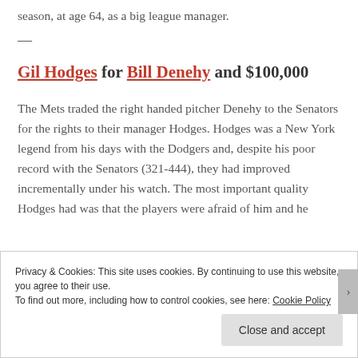season, at age 64, as a big league manager.
Gil Hodges for Bill Denehy and $100,000
The Mets traded the right handed pitcher Denehy to the Senators for the rights to their manager Hodges. Hodges was a New York legend from his days with the Dodgers and, despite his poor record with the Senators (321-444), they had improved incrementally under his watch. The most important quality Hodges had was that the players were afraid of him and he
Privacy & Cookies: This site uses cookies. By continuing to use this website, you agree to their use. To find out more, including how to control cookies, see here: Cookie Policy